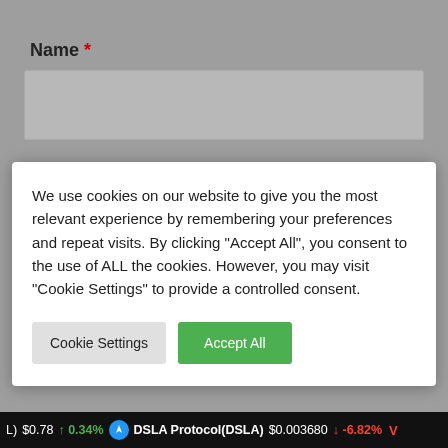Name *
[Figure (screenshot): Empty text input field for Name]
We use cookies on our website to give you the most relevant experience by remembering your preferences and repeat visits. By clicking "Accept All", you consent to the use of ALL the cookies. However, you may visit "Cookie Settings" to provide a controlled consent.
[Figure (screenshot): Cookie Settings button (grey) and Accept All button (green)]
Save my name, email, and website in this browser for the next time I comment.
[Figure (screenshot): POST COMMENT button in green]
L) $0.78 ↑ 0.34% ⚡ DSLA Protocol(DSLA) $0.003680 ↓ -6.82% V